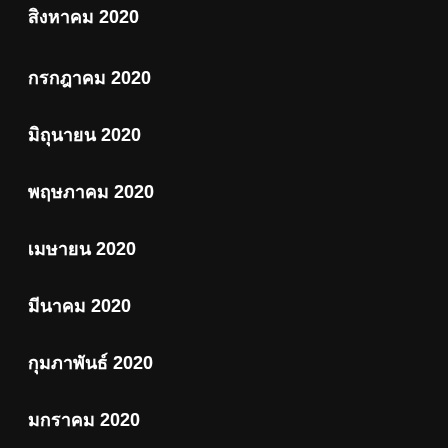สิงหาคม 2020
กรกฎาคม 2020
มิถุนายน 2020
พฤษภาคม 2020
เมษายน 2020
มีนาคม 2020
กุมภาพันธ์ 2020
มกราคม 2020
ธันวาคม 2019